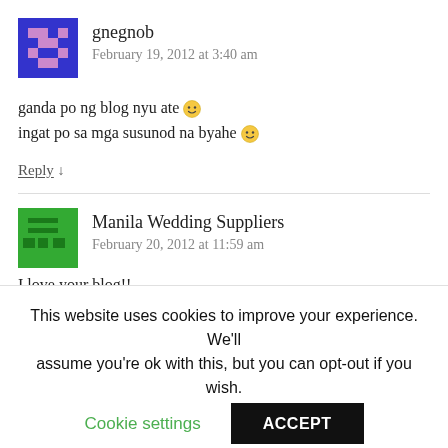gnegnob
February 19, 2012 at 3:40 am
ganda po ng blog nyu ate 🙂
ingat po sa mga susunod na byahe 🙂
Reply ↓
Manila Wedding Suppliers
February 20, 2012 at 11:59 am
l love your blog!!
This website uses cookies to improve your experience. We'll assume you're ok with this, but you can opt-out if you wish.
Cookie settings
ACCEPT